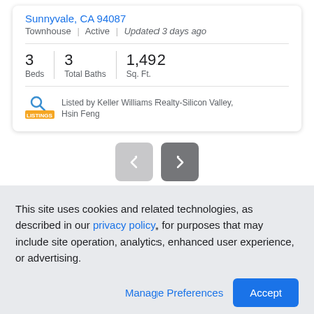Sunnyvale, CA 94087
Townhouse | Active | Updated 3 days ago
| Beds | Total Baths | Sq. Ft. |
| --- | --- | --- |
| 3 | 3 | 1,492 |
Listed by Keller Williams Realty-Silicon Valley, Hsin Feng
Just Listed near 4233 Erie Ct
This site uses cookies and related technologies, as described in our privacy policy, for purposes that may include site operation, analytics, enhanced user experience, or advertising.
Manage Preferences | Accept